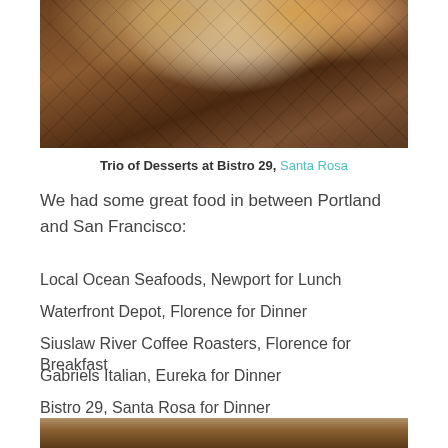[Figure (photo): Overhead photo of desserts and coffee on a dark wooden table with diamond-pattern inlay]
Trio of Desserts at Bistro 29, Santa Rosa
We had some great food in between Portland and San Francisco:
Local Ocean Seafoods, Newport for Lunch
Waterfront Depot, Florence for Dinner
Siuslaw River Coffee Roasters, Florence for Breakfast
Gabriels Italian, Eureka for Dinner
Bistro 29, Santa Rosa for Dinner
[Figure (photo): Partial photo of food/restaurant scene at bottom of page]